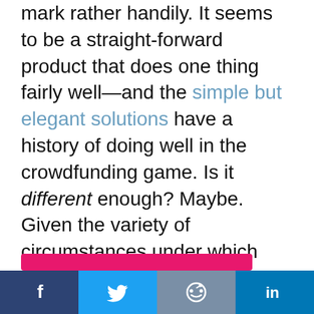mark rather handily. It seems to be a straight-forward product that does one thing fairly well—and the simple but elegant solutions have a history of doing well in the crowdfunding game. Is it different enough? Maybe. Given the variety of circumstances under which this product could be applied, there is probably some room for creative, funky marketing tactics to help them lock down their funding goal.

Now excuse me, it's time for that Johnnie Walker.
[Figure (other): Pink rounded rectangle button (partial) and social sharing bar with Facebook, Twitter, Reddit, and LinkedIn icons]